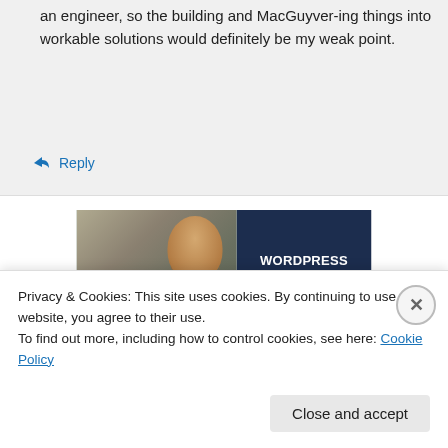an engineer, so the building and MacGuyver-ing things into workable solutions would definitely be my weak point.
↪ Reply
[Figure (photo): Advertisement for WordPress Hosting showing a person holding an OPEN sign on the left, and dark navy panel on the right with text: WORDPRESS HOSTING THAT MEANS BUSINESS.]
Privacy & Cookies: This site uses cookies. By continuing to use this website, you agree to their use.
To find out more, including how to control cookies, see here: Cookie Policy
Close and accept